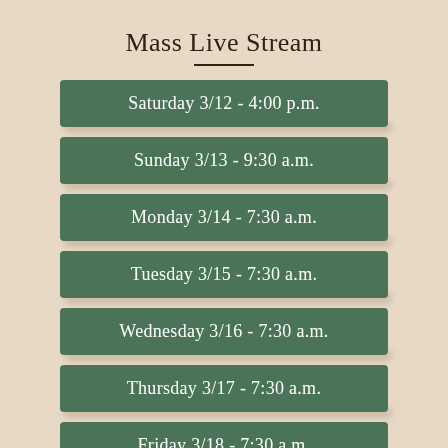Mass Live Stream
Saturday 3/12 - 4:00 p.m.
Sunday 3/13 - 9:30 a.m.
Monday 3/14 - 7:30 a.m.
Tuesday 3/15 - 7:30 a.m.
Wednesday 3/16 - 7:30 a.m.
Thursday 3/17 - 7:30 a.m.
Friday 3/18 - 7:30 a.m.
Friday - Stations of the Cross